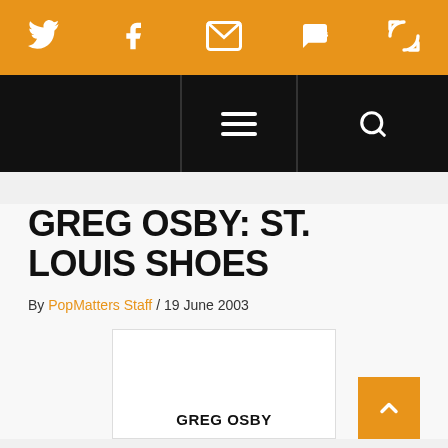Social sharing bar with Twitter, Facebook, Email, SMS, and another icon
[Figure (screenshot): Black navigation bar with hamburger menu icon and search icon]
GREG OSBY: ST. LOUIS SHOES
By PopMatters Staff / 19 June 2003
[Figure (illustration): White box with GREG OSBY text label inside, representing album art placeholder]